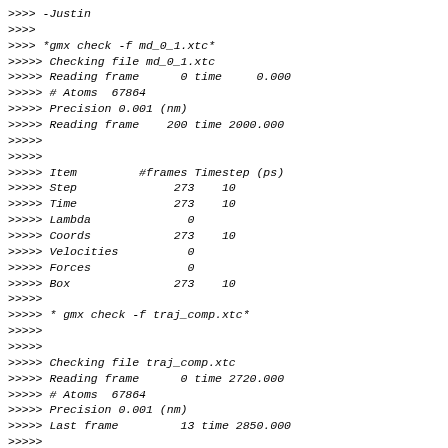>>>> -Justin
>>>>
>>>> *gmx check -f md_0_1.xtc*
>>>>> Checking file md_0_1.xtc
>>>>> Reading frame      0 time     0.000
>>>>> # Atoms  67864
>>>>> Precision 0.001 (nm)
>>>>> Reading frame    200 time 2000.000
>>>>>
>>>>>
>>>>> Item         #frames Timestep (ps)
>>>>> Step              273    10
>>>>> Time              273    10
>>>>> Lambda              0
>>>>> Coords            273    10
>>>>> Velocities          0
>>>>> Forces              0
>>>>> Box               273    10
>>>>>
>>>>> * gmx check -f traj_comp.xtc*
>>>>>
>>>>>
>>>>> Checking file traj_comp.xtc
>>>>> Reading frame      0 time 2720.000
>>>>> # Atoms  67864
>>>>> Precision 0.001 (nm)
>>>>> Last frame         13 time 2850.000
>>>>>
>>>>>
>>>>> Item         #frames Timestep (ps)
>>>>> Step           14    10